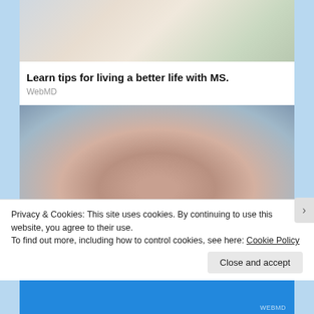[Figure (photo): Partial view of a person near a window, cropped at the top]
Learn tips for living a better life with MS.
WebMD
[Figure (photo): Close-up of multiple hands joined together in a supportive gesture]
Privacy & Cookies: This site uses cookies. By continuing to use this website, you agree to their use.
To find out more, including how to control cookies, see here: Cookie Policy
Close and accept